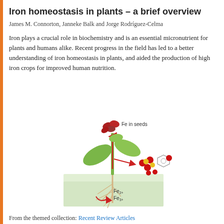Iron homeostasis in plants – a brief overview
James M. Connorton, Janneke Balk and Jorge Rodríguez-Celma
Iron plays a crucial role in biochemistry and is an essential micronutrient for plants and humans alike. Recent progress in the field has led to a better understanding of iron homeostasis in plants, and aided the production of high iron crops for improved human nutrition.
[Figure (illustration): Illustration of a plant showing iron transport. Red seeds labeled 'Fe in seeds' at the top. Red arrows indicate upward transport through the stem. Molecular structures (heme and iron-sulfur clusters shown as red and yellow spheres) near the leaves. Below ground, roots in a soil/water interface zone with labels 'Fe2+' and 'Fe3+' and a curved red arrow indicating iron uptake from soil.]
From the themed collection: Recent Review Articles